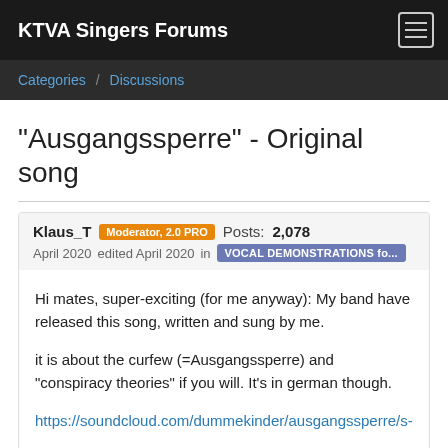KTVA Singers Forums
Categories   Discussions
"Ausgangssperre" - Original song
Klaus_T  Moderator, 2.0 PRO  Posts: 2,078
April 2020   edited April 2020   in   VOCAL DEMONSTRATIONS fo...
Hi mates, super-exciting (for me anyway): My band have released this song, written and sung by me.

it is about the curfew (=Ausgangssperre) and "conspiracy theories" if you will. It's in german though.

https://soundcloud.com/dummekinder/ausgangssperre/s-